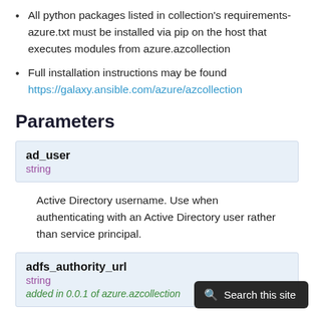All python packages listed in collection's requirements-azure.txt must be installed via pip on the host that executes modules from azure.azcollection
Full installation instructions may be found https://galaxy.ansible.com/azure/azcollection
Parameters
| ad_user | string |
| --- | --- |
Active Directory username. Use when authenticating with an Active Directory user rather than service principal.
| adfs_authority_url | string | added in 0.0.1 of azure.azcollection |
| --- | --- | --- |
Azure AD authority url. Use when with Username/password, and has your own